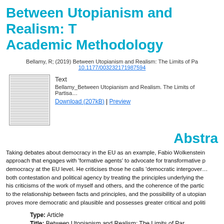Between Utopianism and Realism: T… Academic Methodology
Bellamy, R; (2019) Between Utopianism and Realism: The Limits of Pa… 10.1177/003232171987594…
[Figure (other): Thumbnail preview of document]
Text
Bellamy_Between Utopianism and Realism. The Limits of Partisa…
Download (207kB) | Preview
Abstra…
Taking debates about democracy in the EU as an example, Fabio Wolkenstein approach that engages with 'formative agents' to advocate for transformative p… democracy at the EU level. He criticises those he calls 'democratic intergover… both contestation and political agency by treating the principles underlying the … his criticisms of the work of myself and others, and the coherence of the parti… to the relationship between facts and principles, and the possibility of a utopian proves more democratic and plausible and possesses greater critical and polit…
Type: Article
Title: Between Utopianism and Realism: The Limits of Par…